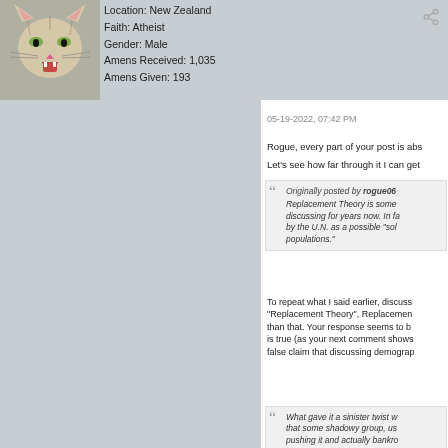[Figure (photo): Profile photo of a cat with mouth open, appearing to roar or yawn]
Location: New Zealand
Faith: Atheist
Gender: Male
Amens Received: 1,035
Amens Given: 193
05-19-2022, 07:42 PM
Rogue, every part of your post is abs
Let's see how far through it I can get
Originally posted by rogue06
Replacement Theory is some... discussing for years now. In fa... by the U.N. as a possible "sol... populations."
To repeat what I said earlier, discuss "Replacement Theory", Replacemen than that. Your response seems to b is true (as your next comment shows false claim that discussing demograp
What gave it a sinister twist w that some shadowy group, us pushing it and actually bankro